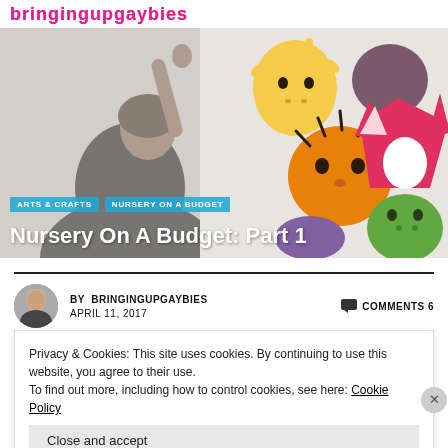bringingupgaybies (logo)
[Figure (photo): Person reaching up to place colorful animal face cutouts on a white wall. Cutouts include a yellow giraffe/antelope, orange tiger circle, pink/red fox, green frog, and brown/purple circular shapes.]
Nursery On A Budget: Part 1
ARTS & CRAFTS   NURSERY ON A BUDGET
BY BRINGINGUPGAYBIES   APRIL 11, 2017   COMMENTS 6
Privacy & Cookies: This site uses cookies. By continuing to use this website, you agree to their use.
To find out more, including how to control cookies, see here: Cookie Policy
Close and accept